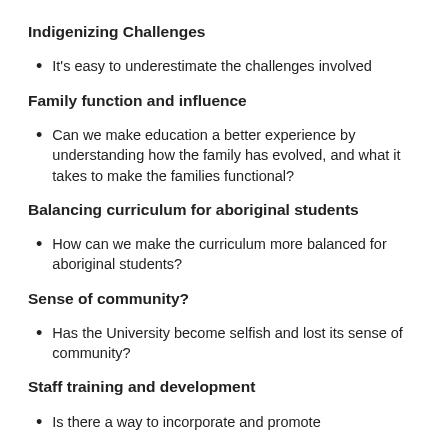Indigenizing Challenges
It's easy to underestimate the challenges involved
Family function and influence
Can we make education a better experience by understanding how the family has evolved, and what it takes to make the families functional?
Balancing curriculum for aboriginal students
How can we make the curriculum more balanced for aboriginal students?
Sense of community?
Has the University become selfish and lost its sense of community?
Staff training and development
Is there a way to incorporate and promote